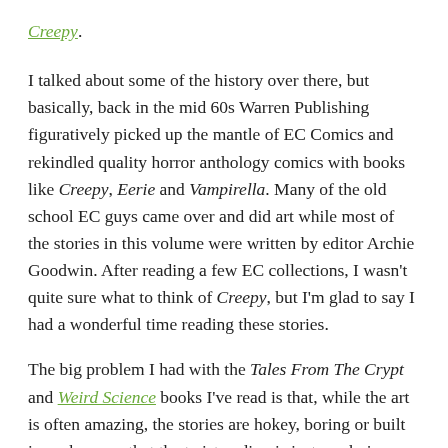Creepy.
I talked about some of the history over there, but basically, back in the mid 60s Warren Publishing figuratively picked up the mantle of EC Comics and rekindled quality horror anthology comics with books like Creepy, Eerie and Vampirella. Many of the old school EC guys came over and did art while most of the stories in this volume were written by editor Archie Goodwin. After reading a few EC collections, I wasn't quite sure what to think of Creepy, but I'm glad to say I had a wonderful time reading these stories.
The big problem I had with the Tales From The Crypt and Weird Science books I've read is that, while the art is often amazing, the stories are hokey, boring or built in such a way that the twist ending is just so obvious it's not even entertaining. I was worried that the Creepy tales would be along those lines and was delighted to find that that